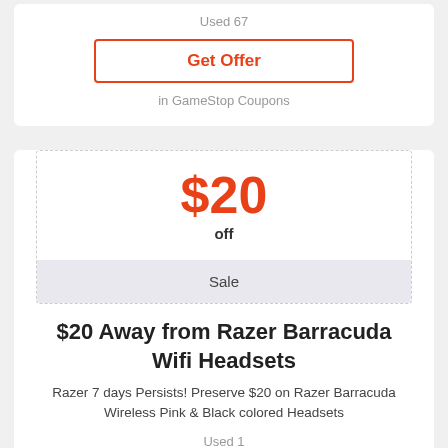Used 67
Get Offer
in GameStop Coupons
$20
off
Sale
$20 Away from Razer Barracuda Wifi Headsets
Razer 7 days Persists! Preserve $20 on Razer Barracuda Wireless Pink & Black colored Headsets
Used 1